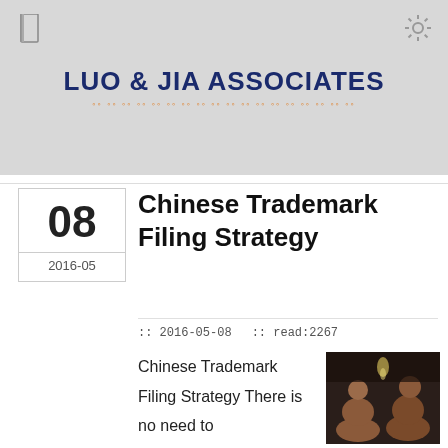LUO & JIA ASSOCIATES
Chinese Trademark Filing Strategy
:: 2016-05-08   :: read:2267
Chinese Trademark Filing Strategy There is no need to
[Figure (photo): Photo of two sumo wrestlers facing each other, dark background]